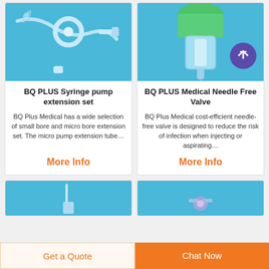[Figure (photo): BQ PLUS Syringe pump extension set product photo on blue background]
BQ PLUS Syringe pump extension set
BQ Plus Medical has a wide selection of small bore and micro bore extension set. The micro pump extension tube…
More Info
[Figure (photo): BQ PLUS Medical Needle Free Valve product photo on blue background with purple badge overlay]
BQ PLUS Medical Needle Free Valve
BQ Plus Medical cost-efficient needle-free valve is designed to reduce the risk of infection when injecting or aspirating…
More Info
[Figure (photo): Bottom left product photo on blue background (partial)]
[Figure (photo): Bottom right product photo on blue background (partial)]
Get a Quote
Chat Now